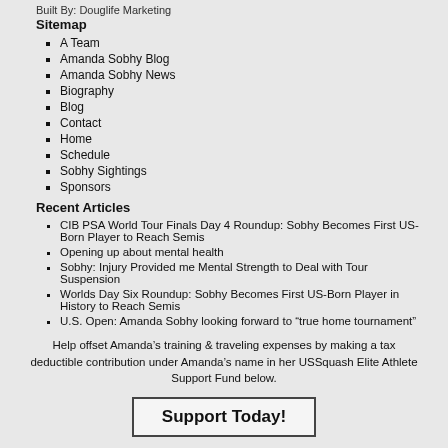Built By: Douglife Marketing
Sitemap
A Team
Amanda Sobhy Blog
Amanda Sobhy News
Biography
Blog
Contact
Home
Schedule
Sobhy Sightings
Sponsors
Recent Articles
CIB PSA World Tour Finals Day 4 Roundup: Sobhy Becomes First US-Born Player to Reach Semis
Opening up about mental health
Sobhy: Injury Provided me Mental Strength to Deal with Tour Suspension
Worlds Day Six Roundup: Sobhy Becomes First US-Born Player in History to Reach Semis
U.S. Open: Amanda Sobhy looking forward to “true home tournament”
Help offset Amanda’s training & traveling expenses by making a tax deductible contribution under Amanda’s name in her USSquash Elite Athlete Support Fund below.
Support Today!